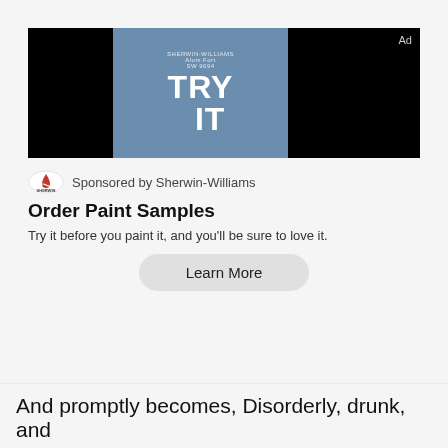[Figure (screenshot): Sherwin-Williams advertisement banner with black sides and blue center panel showing 'TRY IT' in large white bold text, with small Sherwin-Williams branding text above. 'Ad' label in top right corner.]
Sponsored by Sherwin-Williams
Order Paint Samples
Try it before you paint it, and you'll be sure to love it.
Learn More
And promptly becomes, Disorderly, drunk, and